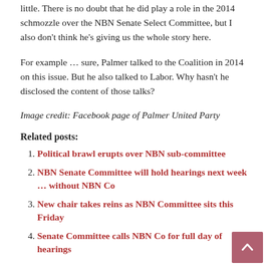little. There is no doubt that he did play a role in the 2014 schmozzle over the NBN Senate Select Committee, but I also don't think he's giving us the whole story here.
For example … sure, Palmer talked to the Coalition in 2014 on this issue. But he also talked to Labor. Why hasn't he disclosed the content of those talks?
Image credit: Facebook page of Palmer United Party
Related posts:
Political brawl erupts over NBN sub-committee
NBN Senate Committee will hold hearings next week … without NBN Co
New chair takes reins as NBN Committee sits this Friday
Senate Committee calls NBN Co for full day of hearings